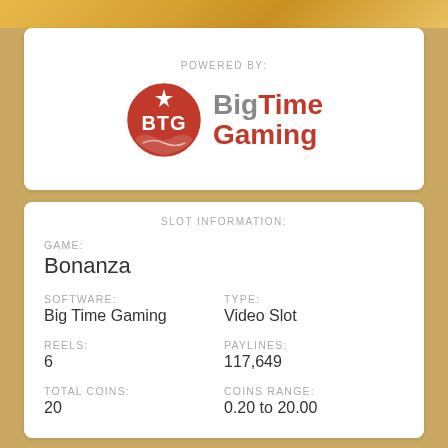[Figure (logo): Big Time Gaming logo with BTG red circle badge and text]
POWERED BY:
SLOT INFORMATION:
GAME: Bonanza
SOFTWARE: Big Time Gaming
TYPE: Video Slot
REELS: 6
PAYLINES: 117,649
TOTAL COINS: 20
COINS RANGE: 0.20 to 20.00